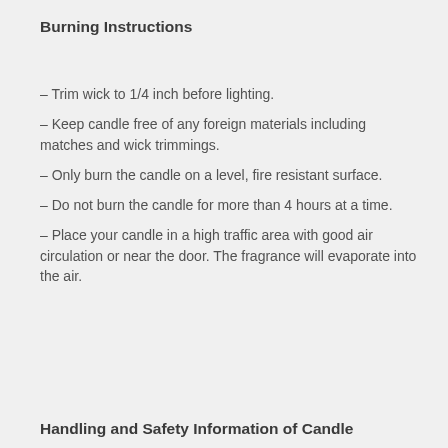Burning Instructions
– Trim wick to 1/4 inch before lighting.
– Keep candle free of any foreign materials including matches and wick trimmings.
– Only burn the candle on a level, fire resistant surface.
– Do not burn the candle for more than 4 hours at a time.
– Place your candle in a high traffic area with good air circulation or near the door. The fragrance will evaporate into the air.
Handling and Safety Information of Candle